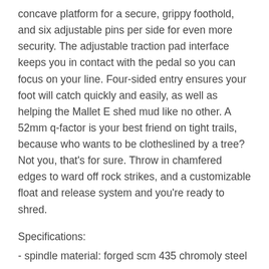concave platform for a secure, grippy foothold, and six adjustable pins per side for even more security. The adjustable traction pad interface keeps you in contact with the pedal so you can focus on your line. Four-sided entry ensures your foot will catch quickly and easily, as well as helping the Mallet E shed mud like no other. A 52mm q-factor is your best friend on tight trails, because who wants to be clotheslined by a tree? Not you, that's for sure. Throw in chamfered edges to ward off rock strikes, and a customizable float and release system and you're ready to shred.
Specifications:
- spindle material: forged scm 435 chromoly steel
- body material: 6061-T6 aluminum
- wing material: 17-4PH stainless
- spring material: 300 series stainless steel
- release angle: 15° / 20°
- q-factor: 52mm
- inner bearing type: igus LL-glide bearing